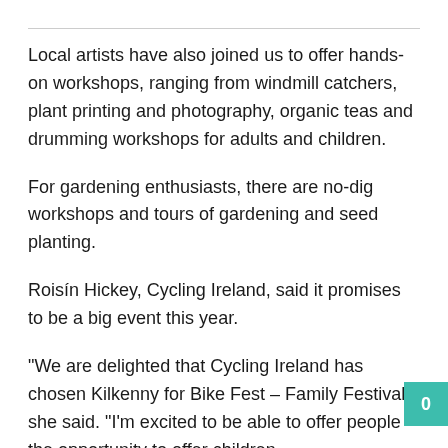Local artists have also joined us to offer hands-on workshops, ranging from windmill catchers, plant printing and photography, organic teas and drumming workshops for adults and children.
For gardening enthusiasts, there are no-dig workshops and tours of gardening and seed planting.
Roisín Hickey, Cycling Ireland, said it promises to be a big event this year.
“We are delighted that Cycling Ireland has chosen Kilkenny for Bike Fest – Family Festival,” she said. “I’m excited to be able to offer people the opportunity to offer children…